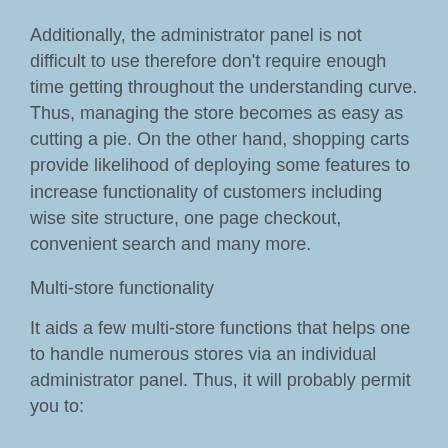Additionally, the administrator panel is not difficult to use therefore don't require enough time getting throughout the understanding curve. Thus, managing the store becomes as easy as cutting a pie. On the other hand, shopping carts provide likelihood of deploying some features to increase functionality of customers including wise site structure, one page checkout, convenient search and many more.
Multi-store functionality
It aids a few multi-store functions that helps one to handle numerous stores via an individual administrator panel. Thus, it will probably permit you to: